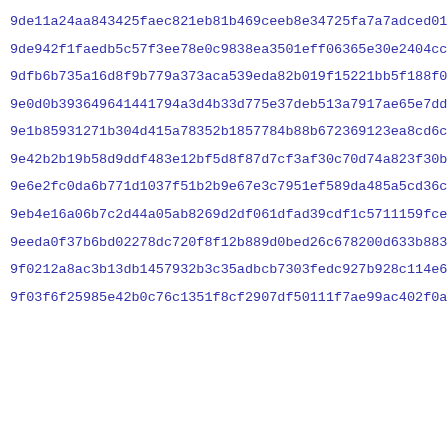9de11a24aa843425faec821eb81b469ceeb8e34725fa7a7adced0185b77be
9de942f1faedb5c57f3ee78e0c9838ea3501eff06365e30e2404ccf9ae771
9dfb6b735a16d8f9b779a373aca539eda82b019f15221bb5f188f0abd842b
9e0d0b393649641441794a3d4b33d775e37deb513a7917ae65e7dd7af4f68
9e1b85931271b304d415a78352b1857784b88b672369123ea8cd6c3adc4c5
9e42b2b19b58d9ddf483e12bf5d8f87d7cf3af30c70d74a823f30b17a40ba
9e6e2fc0da6b771d1037f51b2b9e67e3c7951ef589da485a5cd36c3108b9c
9eb4e16a06b7c2d44a05ab8269d2df061dfad39cdf1c5711159fce3ac994e
9eeda0f37b6bd02278dc720f8f12b889d0bed26c678200d633b883659b3d1
9f0212a8ac3b13db1457932b3c35adbcb7303fedc927b928c114e686f318b
9f03f6f25985e42b0c76c1351f8cf2907df50111f7ae99ac402f0a8097981